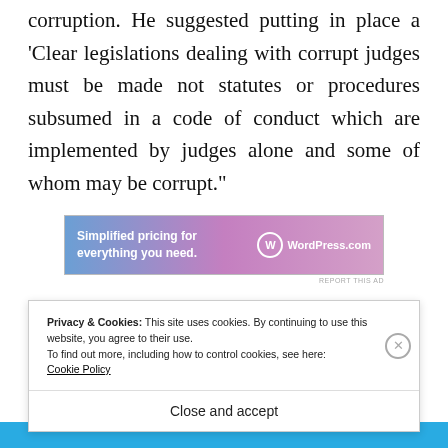corruption. He suggested putting in place a ‘Clear legislations dealing with corrupt judges must be made not statutes or procedures subsumed in a code of conduct which are implemented by judges alone and some of whom may be corrupt.”
[Figure (screenshot): WordPress.com advertisement banner: 'Simplified pricing for everything you need.' with WordPress.com logo]
Privacy & Cookies: This site uses cookies. By continuing to use this website, you agree to their use.
To find out more, including how to control cookies, see here:
Cookie Policy
Close and accept